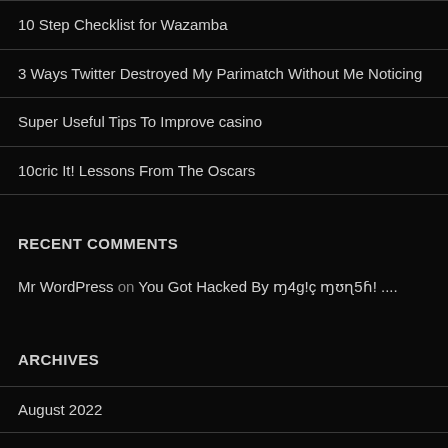10 Step Checklist for Wazamba
3 Ways Twitter Destroyed My Parimatch Without Me Noticing
Super Useful Tips To Improve casino
10cric It! Lessons From The Oscars
RECENT COMMENTS
Mr WordPress on You Got Hacked By ɱ4g!ç ɱʊɳ5ɦ! ....
ARCHIVES
August 2022
July 2022